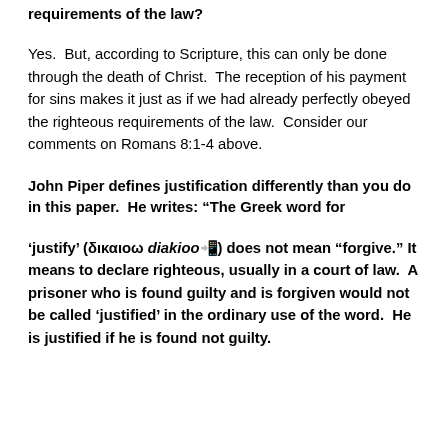requirements of the law?
Yes.  But, according to Scripture, this can only be done through the death of Christ.  The reception of his payment for sins makes it just as if we had already perfectly obeyed the righteous requirements of the law.  Consider our comments on Romans 8:1-4 above.
John Piper defines justification differently than you do in this paper.  He writes: “The Greek word for
‘justify’ (δικαιοω diakioo��) does not mean “forgive.” It means to declare righteous, usually in a court of law.  A prisoner who is found guilty and is forgiven would not be called ‘justified’ in the ordinary use of the word.  He is justified if he is found not guilty.